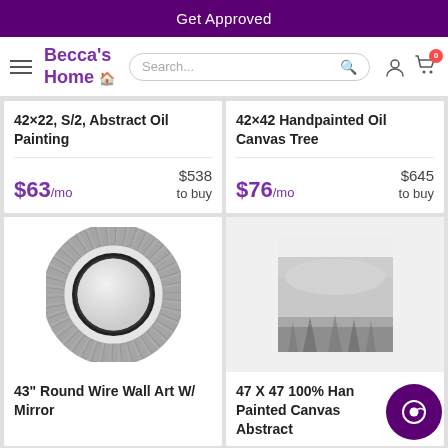Get Approved
[Figure (logo): Becca's Home logo with hamburger menu, search bar, user icon, cart icon with badge 0]
42×22, S/2, Abstract Oil Painting
$63/mo   $538 to buy
42×42 Handpainted Oil Canvas Tree
$76/mo   $645 to buy
[Figure (photo): 43 inch round wire wall art with mirror — circular metallic tiled frame]
43" Round Wire Wall Art W/ Mirror
[Figure (photo): 47 X 47 100% Hand Painted Canvas Abstract — foggy forest landscape]
47 X 47 100% Han Painted Canvas Abstract